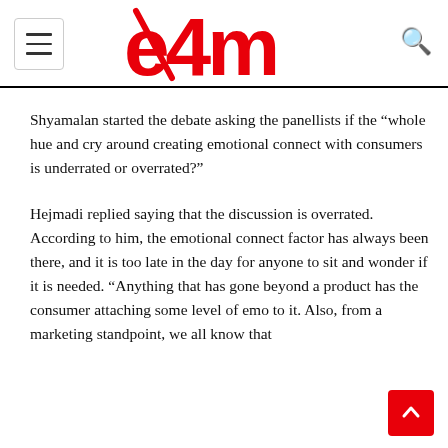e4m
Shyamalan started the debate asking the panellists if the “whole hue and cry around creating emotional connect with consumers is underrated or overrated?”
Hejmadi replied saying that the discussion is overrated. According to him, the emotional connect factor has always been there, and it is too late in the day for anyone to sit and wonder if it is needed. “Anything that has gone beyond a product has the consumer attaching some level of emo… to it. Also, from a marketing standpoint, we all know that…